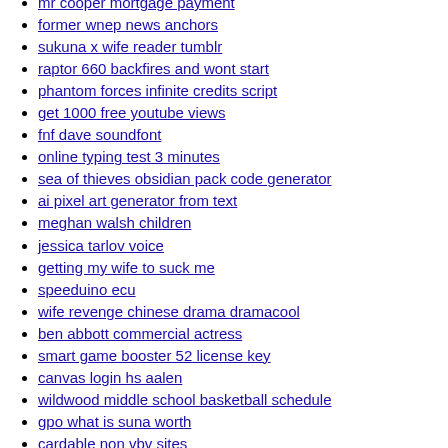mr cooper mortgage payment
former wnep news anchors
sukuna x wife reader tumblr
raptor 660 backfires and wont start
phantom forces infinite credits script
get 1000 free youtube views
fnf dave soundfont
online typing test 3 minutes
sea of thieves obsidian pack code generator
ai pixel art generator from text
meghan walsh children
jessica tarlov voice
getting my wife to suck me
speeduino ecu
wife revenge chinese drama dramacool
ben abbott commercial actress
smart game booster 52 license key
canvas login hs aalen
wildwood middle school basketball schedule
gpo what is suna worth
cardable non vbv sites
pebt california 2022 reload dates
relias icu test answers
bloxlink unlink account
joice asmr